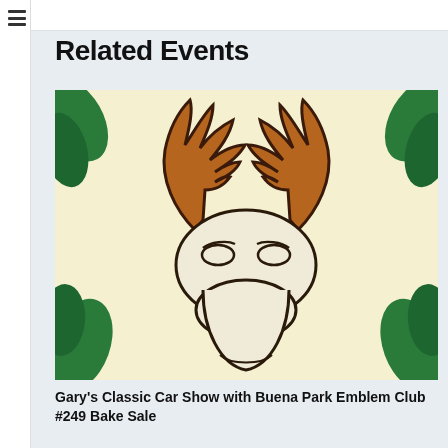Related Events
[Figure (illustration): Close-up illustration of a moose head with large brown antlers on a cream/yellow background with green leaf decorations in the corners. The moose face is drawn in a stylized, graphic art style with bold black outlines.]
Gary's Classic Car Show with Buena Park Emblem Club #249 Bake Sale